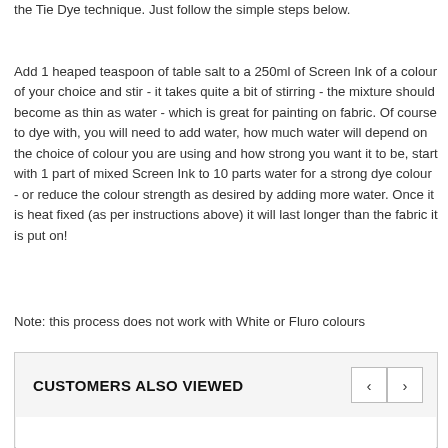the Tie Dye technique. Just follow the simple steps below.
Add 1 heaped teaspoon of table salt to a 250ml of Screen Ink of a colour of your choice and stir - it takes quite a bit of stirring - the mixture should become as thin as water - which is great for painting on fabric. Of course to dye with, you will need to add water, how much water will depend on the choice of colour you are using and how strong you want it to be, start with 1 part of mixed Screen Ink to 10 parts water for a strong dye colour - or reduce the colour strength as desired by adding more water. Once it is heat fixed (as per instructions above) it will last longer than the fabric it is put on!
Note: this process does not work with White or Fluro colours
CUSTOMERS ALSO VIEWED
[Figure (other): Customers Also Viewed carousel section with navigation arrows (left and right) and empty product area below]